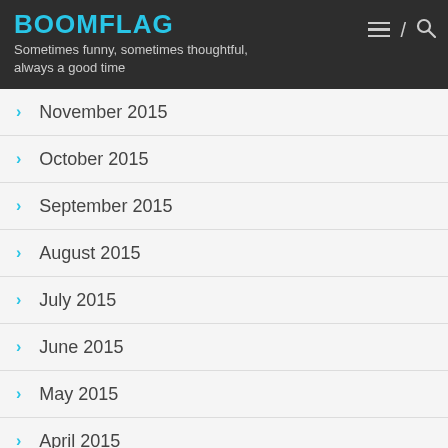BOOMFLAG
Sometimes funny, sometimes thoughtful, always a good time
November 2015
October 2015
September 2015
August 2015
July 2015
June 2015
May 2015
April 2015
March 2015
February 2015